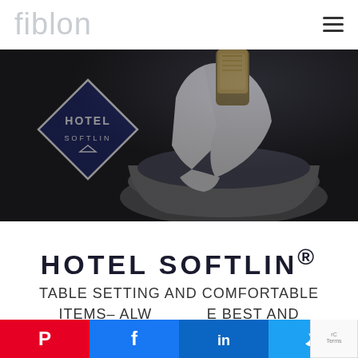fiblon
[Figure (photo): Dark background photo of a champagne bottle wrapped in white cloth/napkin in an ice bucket, with a diamond-shaped logo badge overlay reading HOTEL SOFTLIN in navy blue]
HOTEL SOFTLIN®
TABLE SETTING AND COMFORTABLE ITEMS– ALWAYS THE BEST AND
[Figure (infographic): Social sharing buttons row: Pinterest (red), Facebook (blue), LinkedIn (dark blue), Twitter (light blue)]